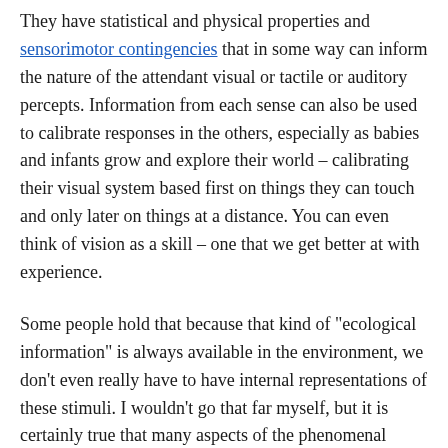They have statistical and physical properties and sensorimotor contingencies that in some way can inform the nature of the attendant visual or tactile or auditory percepts. Information from each sense can also be used to calibrate responses in the others, especially as babies and infants grow and explore their world – calibrating their visual system based first on things they can touch and only later on things at a distance. You can even think of vision as a skill – one that we get better at with experience.
Some people hold that because that kind of "ecological information" is always available in the environment, we don't even really have to have internal representations of these stimuli. I wouldn't go that far myself, but it is certainly true that many aspects of the phenomenal experience of visual or tactile or auditory stimuli are experience-dependent, integrative, and responsive to active exploration (enactive and embodied).